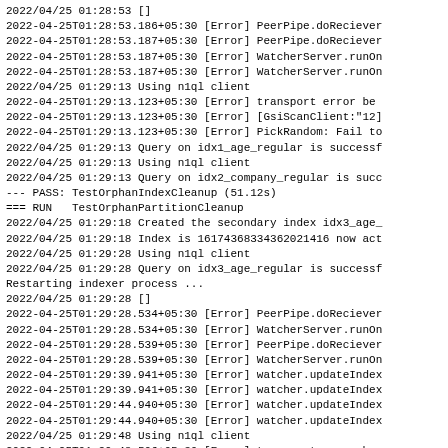2022/04/25 01:28:53 []
2022-04-25T01:28:53.186+05:30 [Error] PeerPipe.doReciever
2022-04-25T01:28:53.187+05:30 [Error] PeerPipe.doReciever
2022-04-25T01:28:53.187+05:30 [Error] WatcherServer.runOn
2022-04-25T01:28:53.187+05:30 [Error] WatcherServer.runOn
2022/04/25 01:29:13 Using n1ql client
2022-04-25T01:29:13.123+05:30 [Error] transport error be
2022-04-25T01:29:13.123+05:30 [Error] [GsiScanClient:"12]
2022-04-25T01:29:13.123+05:30 [Error] PickRandom: Fail to
2022/04/25 01:29:13 Query on idx1_age_regular is successf
2022/04/25 01:29:13 Using n1ql client
2022/04/25 01:29:13 Query on idx2_company_regular is succ
--- PASS: TestOrphanIndexCleanup (51.12s)
=== RUN   TestOrphanPartitionCleanup
2022/04/25 01:29:18 Created the secondary index idx3_age_
2022/04/25 01:29:18 Index is 16174368334362021416 now act
2022/04/25 01:29:28 Using n1ql client
2022/04/25 01:29:28 Query on idx3_age_regular is successf
Restarting indexer process ...
2022/04/25 01:29:28 []
2022-04-25T01:29:28.534+05:30 [Error] PeerPipe.doReciever
2022-04-25T01:29:28.534+05:30 [Error] WatcherServer.runOn
2022-04-25T01:29:28.539+05:30 [Error] PeerPipe.doReciever
2022-04-25T01:29:28.539+05:30 [Error] WatcherServer.runOn
2022-04-25T01:29:39.941+05:30 [Error] watcher.updateIndex
2022-04-25T01:29:39.941+05:30 [Error] watcher.updateIndex
2022-04-25T01:29:44.940+05:30 [Error] watcher.updateIndex
2022-04-25T01:29:44.940+05:30 [Error] watcher.updateIndex
2022/04/25 01:29:48 Using n1ql client
2022-04-25T01:29:48.506+05:30 [Error] transport error be